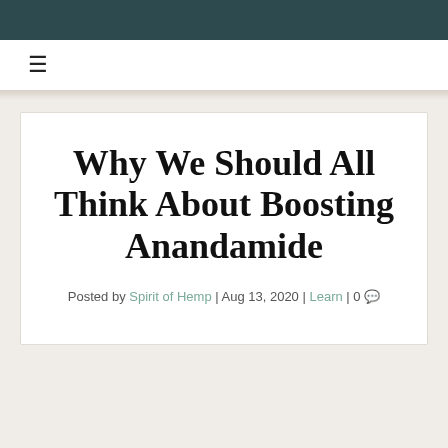Why We Should All Think About Boosting Anandamide
Posted by Spirit of Hemp | Aug 13, 2020 | Learn | 0